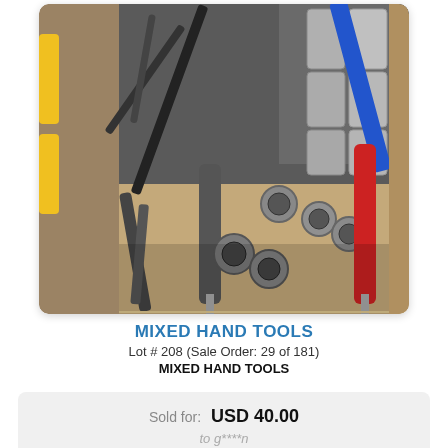[Figure (photo): A cardboard box filled with mixed hand tools including socket wrenches, screwdrivers, sockets, and other hand tools. Some yellow-handled tools visible on the left, a blue bar on the upper right, a red-handled screwdriver on the right side.]
MIXED HAND TOOLS
Lot # 208 (Sale Order: 29 of 181)
MIXED HAND TOOLS
| Sold for: | USD 40.00 |
|  | to g****n |